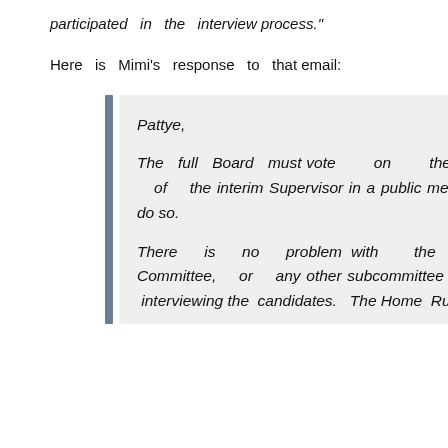participated in the interview process."
Here is Mimi's response to that email:
Pattye,

The full Board must vote on the appointment of the interim Supervisor in a public meeting and will do so.

There is no problem with the Personnel Committee, or any other subcommittee of the Board, interviewing the candidates. The Home Rule Charter